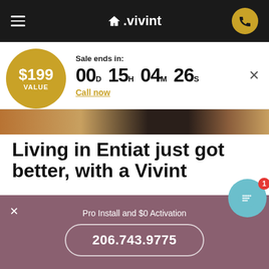[Figure (screenshot): Vivint website header with hamburger menu, Vivint logo with house icon, and gold phone button on dark background]
$199 VALUE
Sale ends in: 00D 15H 04M 26S
Call now
[Figure (photo): Partial interior photo strip showing wooden door and dark furniture elements]
Living in Entiat just got better, with a Vivint
Imagine for a moment that you've been waiting all w... for an important package and the day it finally arrives there is a torrential downpour. You don't want the package to sit in the rain all day because its contents might get
Pro Install and $0 Activation
206.743.9775